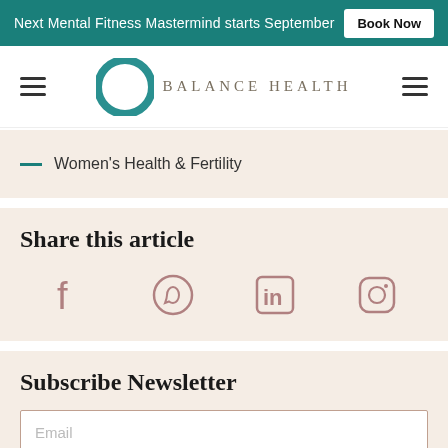Next Mental Fitness Mastermind starts September  Book Now
[Figure (logo): Balance Health logo with teal circular ring and text BALANCE HEALTH]
Women's Health & Fertility
Share this article
[Figure (infographic): Social media sharing icons: Facebook, WhatsApp, LinkedIn, Instagram]
Subscribe Newsletter
Email